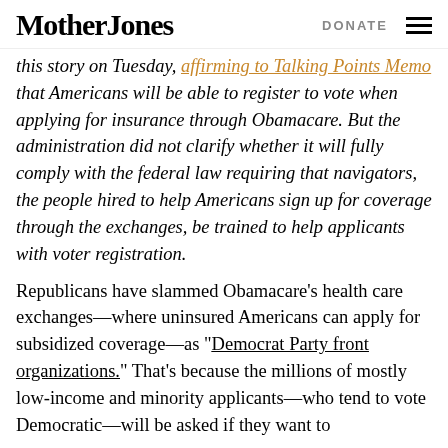Mother Jones | DONATE
this story on Tuesday, affirming to Talking Points Memo that Americans will be able to register to vote when applying for insurance through Obamacare. But the administration did not clarify whether it will fully comply with the federal law requiring that navigators, the people hired to help Americans sign up for coverage through the exchanges, be trained to help applicants with voter registration.
Republicans have slammed Obamacare’s health care exchanges—where uninsured Americans can apply for subsidized coverage—as “Democrat Party front organizations.” That’s because the millions of mostly low-income and minority applicants—who tend to vote Democratic—will be asked if they want to